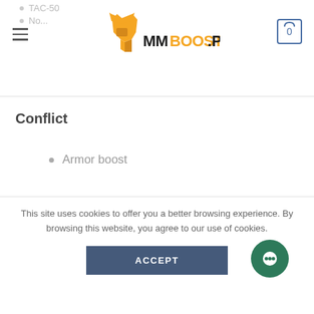MMOBOOST.PRO
TAC-50
No...
Conflict
Armor boost
Boost provided reduced by 50%.
Armor value on nameplates
This site uses cookies to offer you a better browsing experience. By browsing this website, you agree to our use of cookies.
ACCEPT